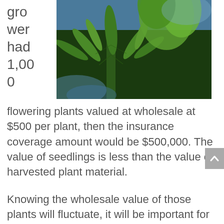gro
wer
had
1,000
[Figure (photo): Close-up photo of cannabis plant with green leaves against a blurred background, held by a gloved hand.]
flowering plants valued at wholesale at $500 per plant, then the insurance coverage amount would be $500,000. The value of seedlings is less than the value of harvested plant material.
Knowing the wholesale value of those plants will fluctuate, it will be important for the cannabis grower to be certain their limits will sufficiently protect them from a loss.
Need a quote for your